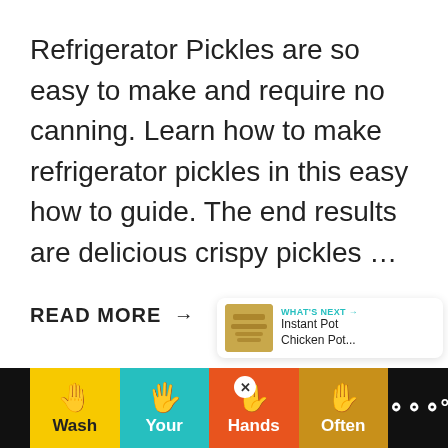Refrigerator Pickles are so easy to make and require no canning. Learn how to make refrigerator pickles in this easy how to guide. The end results are delicious crispy pickles …
READ MORE →
[Figure (infographic): Heart/save button (teal circle with heart icon) and share button (circle with share icon), plus a 1.1K count label]
[Figure (infographic): What's Next widget showing thumbnail and text: WHAT'S NEXT → Instant Pot Chicken Pot...]
[Figure (infographic): Advertisement banner: Wash Your Hands Often with hand icons in yellow, teal, red, and brown sections with a close X button]